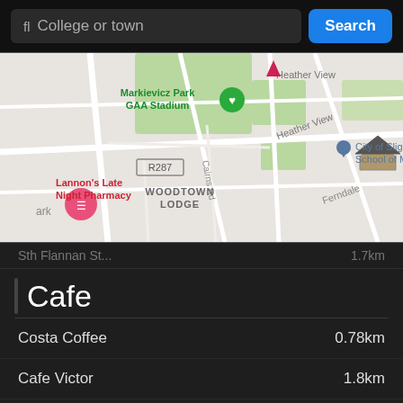[Figure (screenshot): Search bar with text input 'College or town' and blue 'Search' button]
[Figure (map): Google Maps view showing Markievicz Park GAA Stadium, Lannon's Late Night Pharmacy, Woodtown Lodge, Heather View, City of Sligo School of Motoring, R287 road, Cairns Rd, Ferndale area]
Sth Flannan St...  1.7km
Cafe
Costa Coffee   0.78km
Cafe Victor   1.8km
Costa Coffee   1.9km
Rene's   1.9km
Sweet Beat Cafe   1.9km